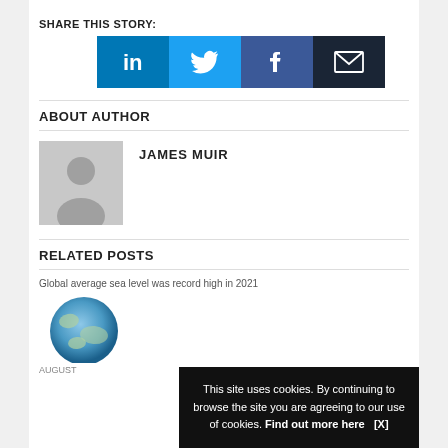SHARE THIS STORY:
[Figure (infographic): Social share buttons: LinkedIn (blue), Twitter (light blue), Facebook (dark blue), Email (dark navy)]
ABOUT AUTHOR
[Figure (photo): Default grey avatar placeholder image for author James Muir]
JAMES MUIR
RELATED POSTS
Global average sea level was record high in 2021
[Figure (photo): Globe/Earth image showing ocean and continents]
AUGUST
This site uses cookies. By continuing to browse the site you are agreeing to our use of cookies. Find out more here   [X]